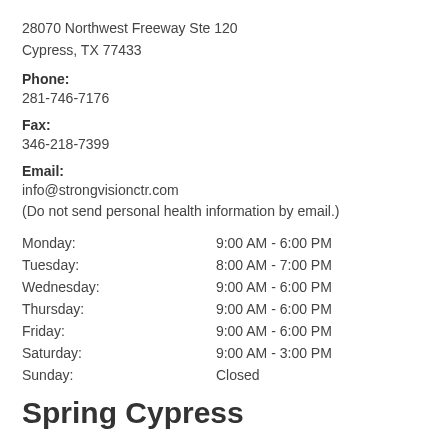28070 Northwest Freeway Ste 120
Cypress, TX 77433
Phone:
281-746-7176
Fax:
346-218-7399
Email:
info@strongvisionctr.com
(Do not send personal health information by email.)
| Day | Hours |
| --- | --- |
| Monday: | 9:00 AM - 6:00 PM |
| Tuesday: | 8:00 AM - 7:00 PM |
| Wednesday: | 9:00 AM - 6:00 PM |
| Thursday: | 9:00 AM - 6:00 PM |
| Friday: | 9:00 AM - 6:00 PM |
| Saturday: | 9:00 AM - 3:00 PM |
| Sunday: | Closed |
Spring Cypress